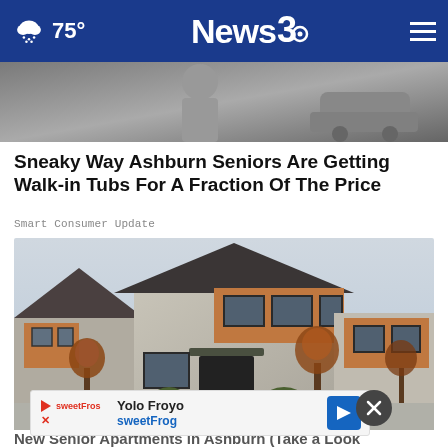75° News3 [navigation menu]
[Figure (photo): Top partial image strip showing a person or scene, cropped at the top of the article]
Sneaky Way Ashburn Seniors Are Getting Walk-in Tubs For A Fraction Of The Price
Smart Consumer Update
[Figure (photo): Modern two-story residential house with stone and wood exterior, dark trim windows, and autumn trees in front yard]
Yolo Froyo sweetFrog [advertisement banner]
New Senior Apartments in Ashburn (Take a Look